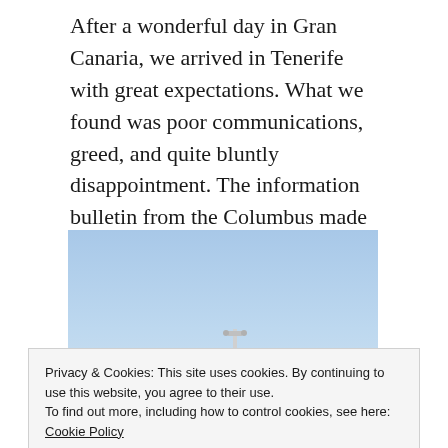After a wonderful day in Gran Canaria, we arrived in Tenerife with great expectations. What we found was poor communications, greed, and quite bluntly disappointment. The information bulletin from the Columbus made no mention of shuttle services at the port, but did relate that there would be metered taxis. Fair enough, we set out to find a cab.
[Figure (photo): Photo of a cruise ship top (dome/radar) against a clear blue sky, with a strip of port/dock visible at the bottom]
Privacy & Cookies: This site uses cookies. By continuing to use this website, you agree to their use. To find out more, including how to control cookies, see here: Cookie Policy
Close and accept